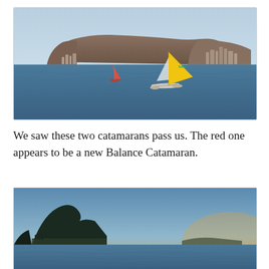[Figure (photo): Two catamarans sailing on blue ocean water with Table Mountain and Cape Town city skyline in the background. The foreground catamaran has a large yellow sail, the other has a red sail.]
We saw these two catamarans pass us. The red one appears to be a new Balance Catamaran.
[Figure (photo): Coastal scene at dusk showing a dark mountain silhouette (Lion's Head / Signal Hill area) with calm blue water and a warm gradient sky from blue to orange on the horizon.]